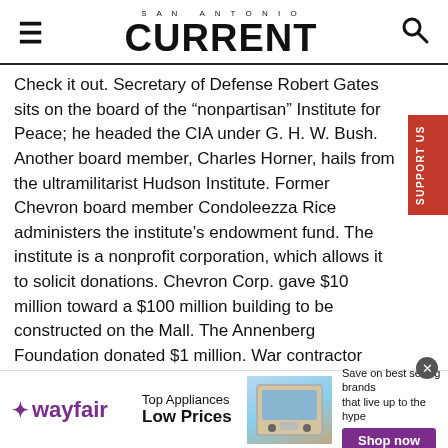SAN ANTONIO CURRENT
Check it out. Secretary of Defense Robert Gates sits on the board of the “nonpartisan” Institute for Peace; he headed the CIA under G. H. W. Bush. Another board member, Charles Horner, hails from the ultramilitarist Hudson Institute. Former Chevron board member Condoleezza Rice administers the institute’s endowment fund. The institute is a nonprofit corporation, which allows it to solicit donations. Chevron Corp. gave $10 million toward a $100 million building to be constructed on the Mall. The Annenberg Foundation donated $1 million. War contractor (and Sen. Dianne Feinstein’s husband) Richard C. Blum gave $100,000.
[Figure (screenshot): Wayfair advertisement banner: Top Appliances Low Prices, Save on best selling brands that live up to the hype, Shop now button]